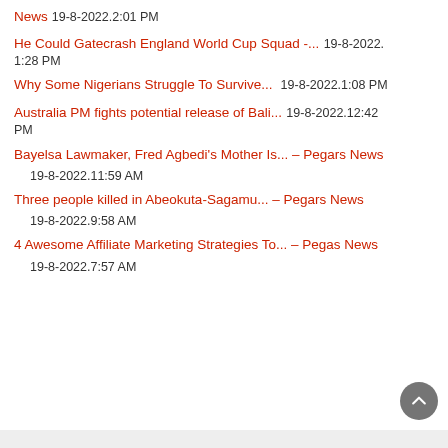News  19-8-2022.2:01 PM
He Could Gatecrash England World Cup Squad -...  19-8-2022.1:28 PM
Why Some Nigerians Struggle To Survive...  19-8-2022.1:08 PM
Australia PM fights potential release of Bali...  19-8-2022.12:42 PM
Bayelsa Lawmaker, Fred Agbedi's Mother Is... – Pegars News  19-8-2022.11:59 AM
Three people killed in Abeokuta-Sagamu... – Pegars News  19-8-2022.9:58 AM
4 Awesome Affiliate Marketing Strategies To... – Pegars News  19-8-2022.7:57 AM